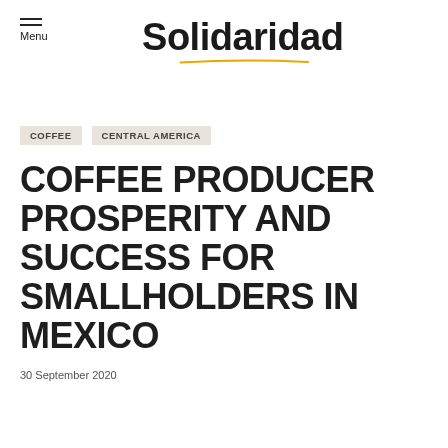Solidaridad
COFFEE   CENTRAL AMERICA
COFFEE PRODUCER PROSPERITY AND SUCCESS FOR SMALLHOLDERS IN MEXICO
30 September 2020